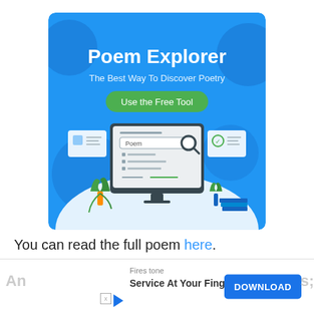[Figure (infographic): Poem Explorer banner ad with blue background, showing a desktop computer with search interface, magnifying glass, plants, books, title 'Poem Explorer', subtitle 'The Best Way To Discover Poetry', and green 'Use the Free Tool' button.]
You can read the full poem here.
[Figure (infographic): Bottom advertisement bar: Firestone 'Service At Your Fingertips' with DOWNLOAD button]